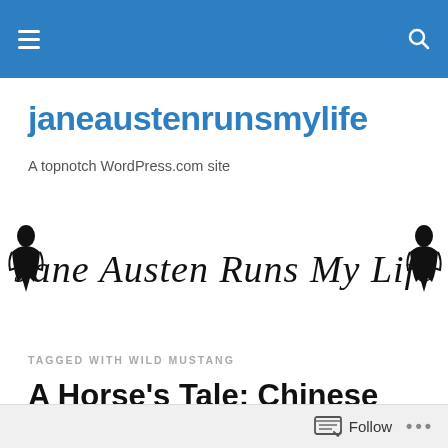janeaustenrunsmylife – A topnotch WordPress.com site
janeaustenrunsmylife
A topnotch WordPress.com site
[Figure (logo): Cursive script logo reading 'Jane Austen Runs My Life' with silhouette figures on each side]
TAGGED WITH WILD MUSTANG
A Horse's Tale: Chinese New Year
Follow